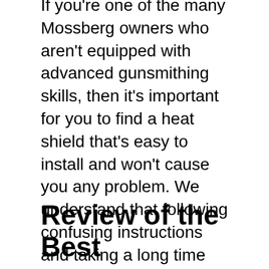If you're one of the many Mossberg owners who aren't equipped with advanced gunsmithing skills, then it's important for you to find a heat shield that's easy to install and won't cause you any problem. We understand that following confusing instructions and taking a long time figuring out how to assemble your weapon can be frustrating for some and that's why it is recommended to enlist the professional services of a gunsmith if you find installing a heat shield on your Mossberg intimidating. Otherwise, it is best to pick those that will only take at most a couple of minutes to install.
Review of the Best